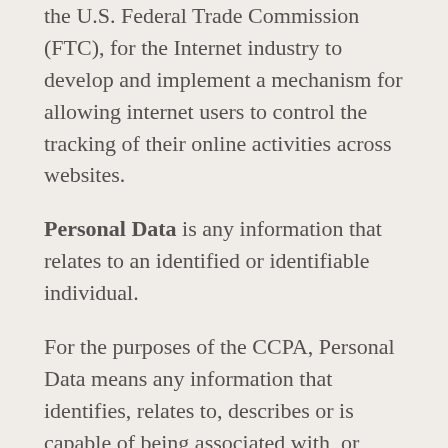the U.S. Federal Trade Commission (FTC), for the Internet industry to develop and implement a mechanism for allowing internet users to control the tracking of their online activities across websites.
Personal Data is any information that relates to an identified or identifiable individual.
For the purposes of the CCPA, Personal Data means any information that identifies, relates to, describes or is capable of being associated with, or could reasonably be linked, directly or indirectly, with You.
Sale, for the purpose of the CCPA (California Consumer Privacy Act), means selling, renting, releasing, disclosing, disseminating, making available, transferring, or otherwise communicating orally, in writing, or by electronic or other means, a Consumer's personal information to another business or a third party for monetary or other valuable consideration.